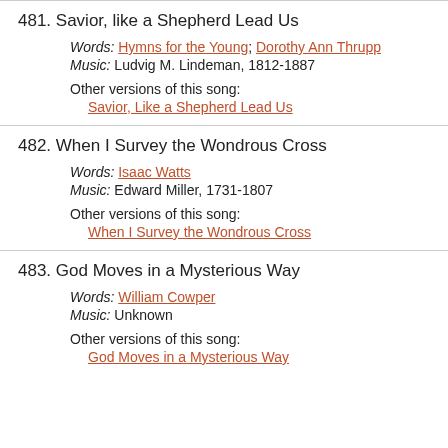481. Savior, like a Shepherd Lead Us
Words: Hymns for the Young; Dorothy Ann Thrupp
Music: Ludvig M. Lindeman, 1812-1887
Other versions of this song:
Savior, Like a Shepherd Lead Us
482. When I Survey the Wondrous Cross
Words: Isaac Watts
Music: Edward Miller, 1731-1807
Other versions of this song:
When I Survey the Wondrous Cross
483. God Moves in a Mysterious Way
Words: William Cowper
Music: Unknown
Other versions of this song:
God Moves in a Mysterious Way